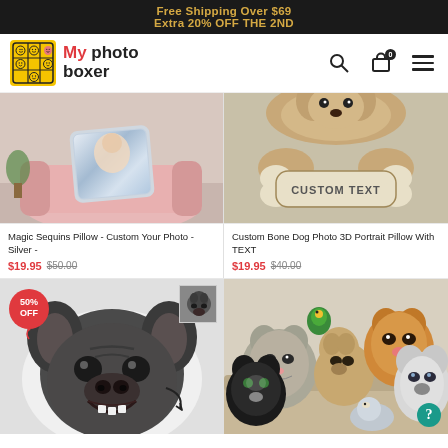Free Shipping Over $69
Extra 20% OFF THE 2ND
[Figure (logo): My Photo Boxer logo with yellow square icon and company name]
[Figure (photo): Magic Sequins Pillow silver with custom photo on pink armchair]
[Figure (photo): Custom Bone Dog Photo 3D Portrait Pillow With TEXT showing dog and bone pillow]
Magic Sequins Pillow - Custom Your Photo - Silver -
$19.95 $50.00
Custom Bone Dog Photo 3D Portrait Pillow With TEXT
$19.95 $40.00
[Figure (photo): French Bulldog face 3D portrait pillow with 50% OFF badge and thumbnail inset]
[Figure (photo): Multiple pet portrait pillows - cats and dogs arranged on sofa with help button]